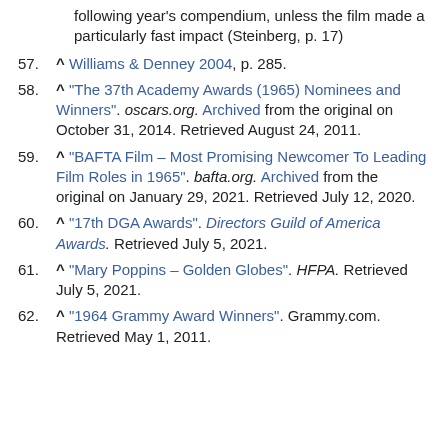following year's compendium, unless the film made a particularly fast impact (Steinberg, p. 17)
57. ^ Williams & Denney 2004, p. 285.
58. ^ "The 37th Academy Awards (1965) Nominees and Winners". oscars.org. Archived from the original on October 31, 2014. Retrieved August 24, 2011.
59. ^ "BAFTA Film – Most Promising Newcomer To Leading Film Roles in 1965". bafta.org. Archived from the original on January 29, 2021. Retrieved July 12, 2020.
60. ^ "17th DGA Awards". Directors Guild of America Awards. Retrieved July 5, 2021.
61. ^ "Mary Poppins – Golden Globes". HFPA. Retrieved July 5, 2021.
62. ^ "1964 Grammy Award Winners". Grammy.com. Retrieved May 1, 2011.